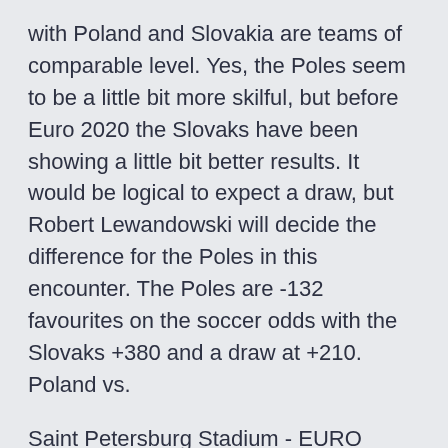with Poland and Slovakia are teams of comparable level. Yes, the Poles seem to be a little bit more skilful, but before Euro 2020 the Slovaks have been showing a little bit better results. It would be logical to expect a draw, but Robert Lewandowski will decide the difference for the Poles in this encounter. The Poles are -132 favourites on the soccer odds with the Slovaks +380 and a draw at +210. Poland vs.
Saint Petersburg Stadium - EURO 2020, Saint Petersburg, Russian Federation. 18 UEFA Euro 2020 Tickets UEFA Euro 2020. UEFA European Championship, or the Euros, is a soccer competition among the members of the Union of European Football Associations for the continental championship. The Euros have been held very four years since its inception